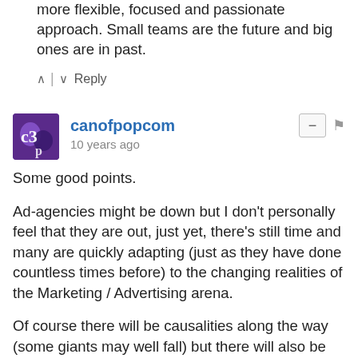more flexible, focused and passionate approach. Small teams are the future and big ones are in past.
Reply
canofpopcom
10 years ago
Some good points.

Ad-agencies might be down but I don't personally feel that they are out, just yet, there's still time and many are quickly adapting (just as they have done countless times before) to the changing realities of the Marketing / Advertising arena.

Of course there will be causalities along the way (some giants may well fall) but there will also be new / existing players who will rise to prominence.

I have to agree with the 2nd to last paragraph, many of us who work within the ranks of the ad-industry fully realise the changing landscape and strive for change, unfortunately more often than not our ambitions are rarely realised in favour of the status quo, the braver ones leave & set up on their own, the majority consign their passions to outside